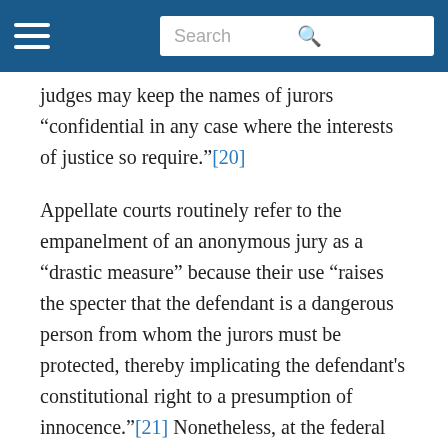Search
p [19] judges may keep the names of jurors “confidential in any case where the interests of justice so require.”[20]
Appellate courts routinely refer to the empanelment of an anonymous jury as a “drastic measure” because their use “raises the specter that the defendant is a dangerous person from whom the jurors must be protected, thereby implicating the defendant's constitutional right to a presumption of innocence.”[21] Nonetheless, at the federal level, judges are rarely overturned for their decision to empanel an anonymous jury. It appears that reversal